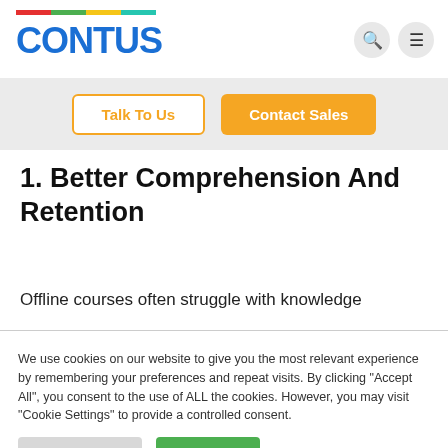CONTUS
[Figure (logo): CONTUS logo with multicolor bar (red, green, yellow, teal) above blue bold text]
Talk To Us | Contact Sales
1. Better Comprehension And Retention
Offline courses often struggle with knowledge
We use cookies on our website to give you the most relevant experience by remembering your preferences and repeat visits. By clicking "Accept All", you consent to the use of ALL the cookies. However, you may visit "Cookie Settings" to provide a controlled consent.
Cookie Settings | Accept All